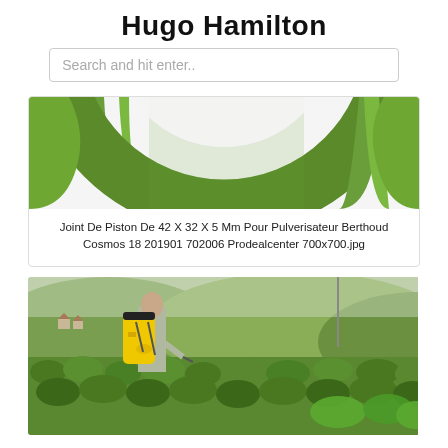Hugo Hamilton
Search and hit enter..
[Figure (photo): Close-up of a green rubber piston ring/seal against a white background — partial view cropped at top]
Joint De Piston De 42 X 32 X 5 Mm Pour Pulverisateur Berthoud Cosmos 18 201901 702006 Prodealcenter 700x700.jpg
[Figure (photo): A person wearing a yellow backpack sprayer working in a vineyard with green leafy plants and hills in the background]